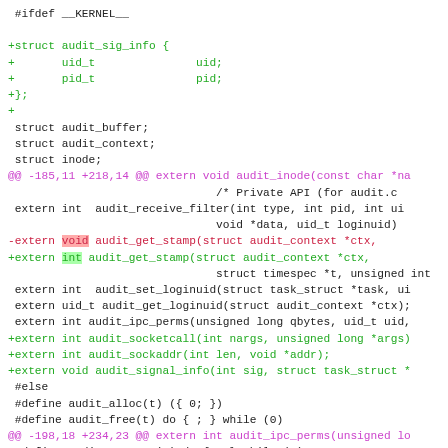[Figure (other): Unified diff / patch code block showing kernel audit structure additions and function signature changes in C header file]